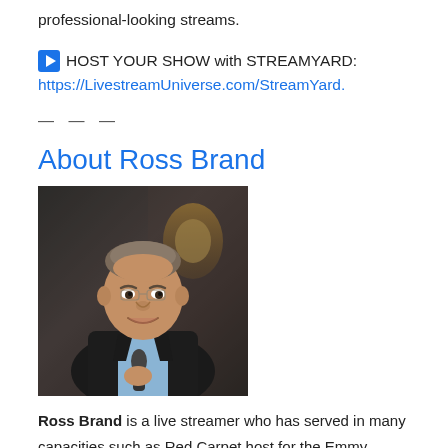professional-looking streams.
▶ HOST YOUR SHOW with STREAMYARD:
https://LivestreamUniverse.com/StreamYard.
— — —
About Ross Brand
[Figure (photo): Portrait photo of Ross Brand, a middle-aged man in a dark blazer and light blue shirt, holding a microphone, smiling indoors.]
Ross Brand is a live streamer who has served in many capacities such as Red Carpet host for the Emmy Award-winning Never Settle Show, produced by Al Roker Entertainment, brand